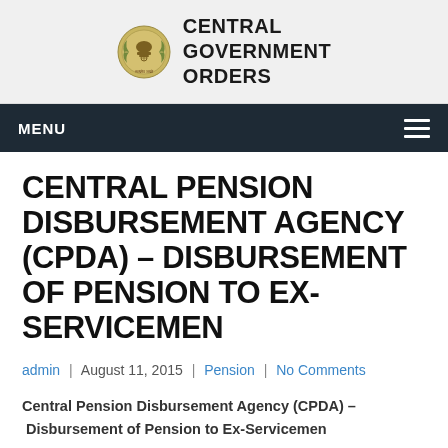CENTRAL GOVERNMENT ORDERS
CENTRAL PENSION DISBURSEMENT AGENCY (CPDA) – DISBURSEMENT OF PENSION TO EX-SERVICEMEN
admin | August 11, 2015 | Pension | No Comments
Central Pension Disbursement Agency (CPDA) – Disbursement of Pension to Ex-Servicemen